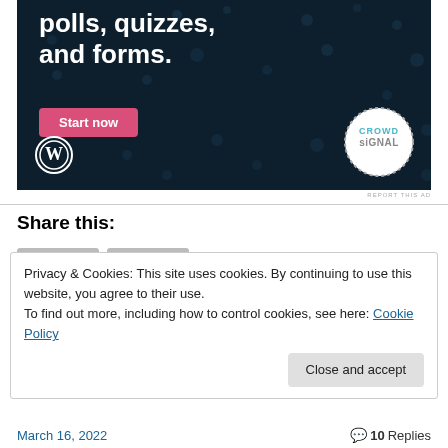[Figure (screenshot): Advertisement banner for Crowdsignal/WordPress polls, quizzes, and forms with dark navy background, white bold text reading 'polls, quizzes, and forms.', a pink 'Start now' button, WordPress logo at bottom left, and Crowdsignal circular logo at bottom right.]
REPORT THIS AD
Share this:
Privacy & Cookies: This site uses cookies. By continuing to use this website, you agree to their use.
To find out more, including how to control cookies, see here: Cookie Policy
Close and accept
March 16, 2022    💬 10 Replies